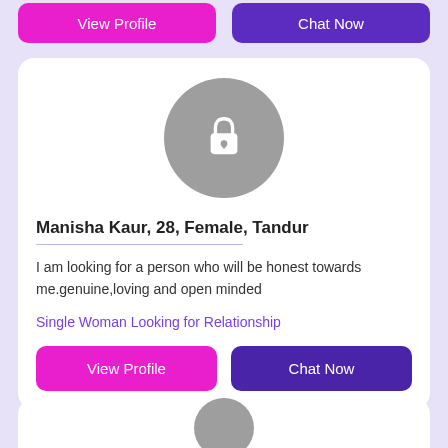[Figure (screenshot): Dating/social app profile card UI screenshot showing a locked profile photo (grey circle with lock icon), profile name and details, bio text, a tag, and two action buttons (View Profile in pink, Chat Now in purple). Top of page shows partial buttons from previous card. Bottom shows start of another card.]
Manisha Kaur, 28, Female, Tandur
I am looking for a person who will be honest towards me.genuine,loving and open minded
Single Woman Looking for Relationship